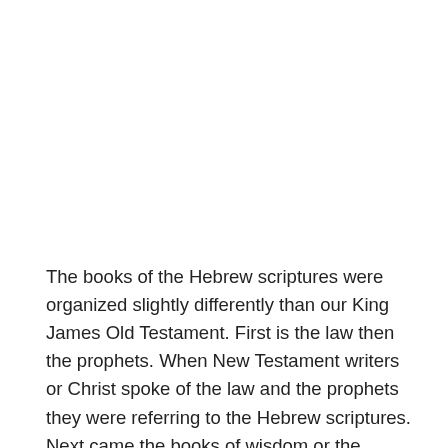The books of the Hebrew scriptures were organized slightly differently than our King James Old Testament. First is the law then the prophets. When New Testament writers or Christ spoke of the law and the prophets they were referring to the Hebrew scriptures. Next came the books of wisdom or the writings including Psalms, Proverbs, Job, etc. The King James Old Testament is also organized according to the topic. Starting with the writings of Moses , followed by historical books, the books of wisdom and ending with the